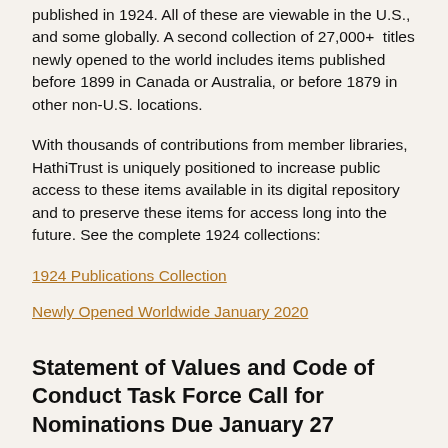published in 1924. All of these are viewable in the U.S., and some globally. A second collection of 27,000+  titles newly opened to the world includes items published before 1899 in Canada or Australia, or before 1879 in other non-U.S. locations.
With thousands of contributions from member libraries, HathiTrust is uniquely positioned to increase public access to these items available in its digital repository and to preserve these items for access long into the future. See the complete 1924 collections:
1924 Publications Collection
Newly Opened Worldwide January 2020
Statement of Values and Code of Conduct Task Force Call for Nominations Due January 27